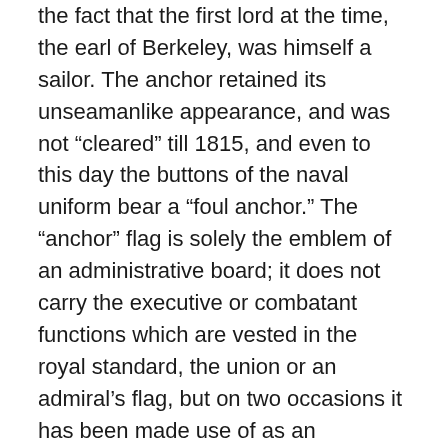the fact that the first lord at the time, the earl of Berkeley, was himself a sailor. The anchor retained its unseamanlike appearance, and was not “cleared” till 1815, and even to this day the buttons of the naval uniform bear a “foul anchor.” The “anchor” flag is solely the emblem of an administrative board; it does not carry the executive or combatant functions which are vested in the royal standard, the union or an admiral’s flag, but on two occasions it has been made use of as an executive flag. In 1719 the earl of Berkeley, who at the time was not only first lord of the admiralty, but vice-admiral of England, obtained the special permission of George I. to hoist it at the main instead of the union flag. Again in 1869, when Mr Childers, then first lord, accompanied by some members of his board, went on board the “Agincourt” he hoisted the admiralty flag and took command of the combined Mediterranean and Channel squadrons, thus superseding the flags of the two distinguished officers who at the time